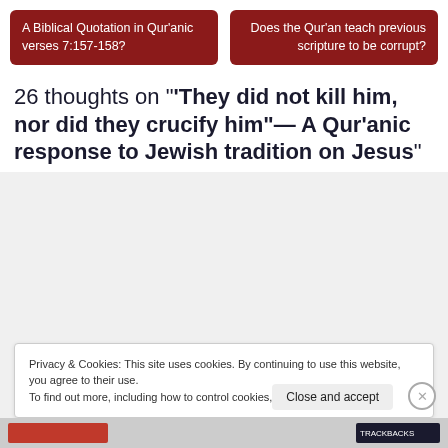A Biblical Quotation in Qur'anic verses 7:157-158?
Does the Qur'an teach previous scripture to be corrupt?
26 thoughts on "‘‘They did not kill him, nor did they crucify him’— A Qur’anic response to Jewish tradition on Jesus”
Privacy & Cookies: This site uses cookies. By continuing to use this website, you agree to their use.
To find out more, including how to control cookies, see here: Cookie Policy
Close and accept